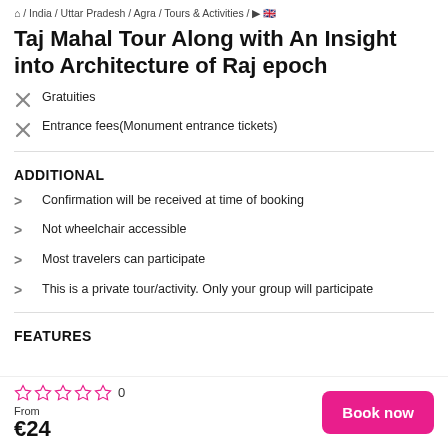⌂ / India / Uttar Pradesh / Agra / Tours & Activities / ▶ 🇬🇧
Taj Mahal Tour Along with An Insight into Architecture of Raj epoch
Gratuities
Entrance fees(Monument entrance tickets)
ADDITIONAL
Confirmation will be received at time of booking
Not wheelchair accessible
Most travelers can participate
This is a private tour/activity. Only your group will participate
FEATURES
0 stars  From €24  Book now